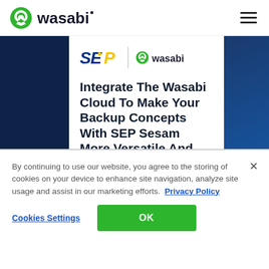wasabi (logo with navigation hamburger menu)
[Figure (logo): SEP logo and Wasabi logo side by side with divider line]
Integrate The Wasabi Cloud To Make Your Backup Concepts With SEP Sesam More Versatile And Efficient
By continuing to use our website, you agree to the storing of cookies on your device to enhance site navigation, analyze site usage and assist in our marketing efforts. Privacy Policy
Cookies Settings | OK